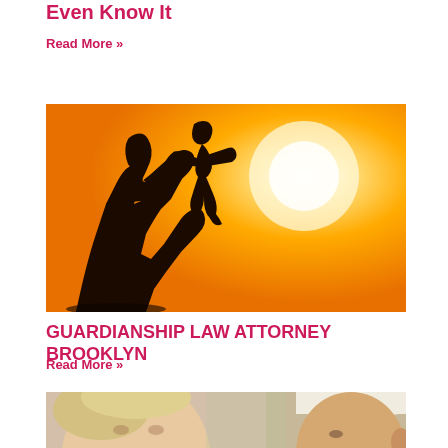Even Know It
Read More »
[Figure (photo): Silhouette of an adult holding a child up in the air against a bright orange/yellow sunset sky background]
GUARDIANSHIP LAW ATTORNEY BROOKLYN
Read More »
[Figure (photo): Close-up of two elderly people's faces, partially cropped at bottom of page]